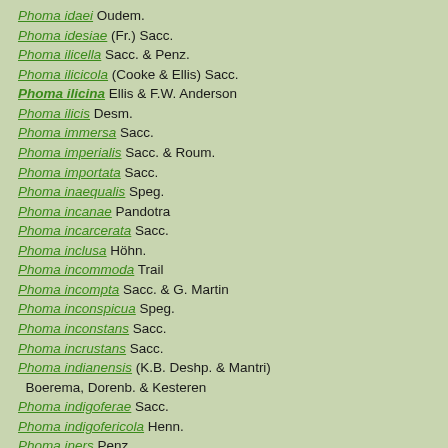Phoma idaei Oudem.
Phoma idesiae (Fr.) Sacc.
Phoma ilicella Sacc. & Penz.
Phoma ilicicola (Cooke & Ellis) Sacc.
Phoma ilicina Ellis & F.W. Anderson
Phoma ilicis Desm.
Phoma immersa Sacc.
Phoma imperialis Sacc. & Roum.
Phoma importata Sacc.
Phoma inaequalis Speg.
Phoma incanae Pandotra
Phoma incarcerata Sacc.
Phoma inclusa Höhn.
Phoma incommoda Trail
Phoma incompta Sacc. & G. Martin
Phoma inconspicua Speg.
Phoma inconstans Sacc.
Phoma incrustans Sacc.
Phoma indianensis (K.B. Deshp. & Mantri) Boerema, Dorenb. & Kesteren
Phoma indigoferae Sacc.
Phoma indigofericola Henn.
Phoma iners Penz.
Phoma inexspectata Oudem.
Phoma infossa Ellis & Everh.
Phoma ingens Ade
Phoma innumerabilis Thüm.
Phoma inocarpi Sacc.
Phoma inophila Berk.
Phoma inopinata Oudem.